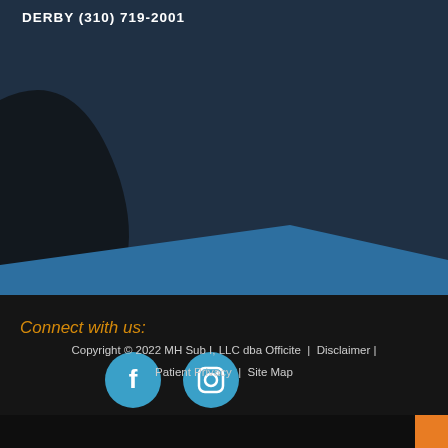DERBY (310) 719-2001
[Figure (photo): Dark background with decorative curved dark teal and blue shape, resembling a website footer background image with bokeh/blurred chair element]
Connect with us:
[Figure (illustration): Two circular teal social media icons: Facebook (f) and Instagram (camera)]
Copyright © 2022 MH Sub I, LLC dba Officite |  Disclaimer |  Patient Privacy |  Site Map